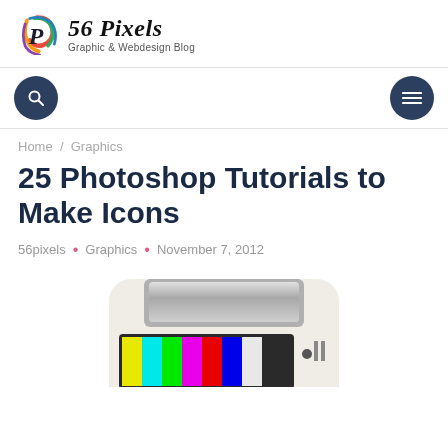[Figure (logo): 56 Pixels - Graphic & Webdesign Blog logo with colorful P icon]
[Figure (infographic): Navigation bar with dark navy search icon button on left and hamburger menu button on right]
Home / Graphics
25 Photoshop Tutorials to Make Icons
56pixels • Graphics • November 7, 2012
[Figure (screenshot): Partially visible icon depicting a retro camera/TV device — a Tuts+ style tutorial icon image]